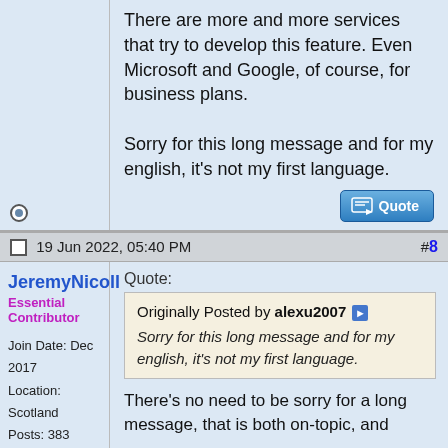There are more and more services that try to develop this feature. Even Microsoft and Google, of course, for business plans.

Sorry for this long message and for my english, it's not my first language.
19 Jun 2022, 05:40 PM  #8
JeremyNicoll
Essential Contributor

Join Date: Dec 2017
Location: Scotland
Posts: 383
Quote:
Originally Posted by alexu2007
Sorry for this long message and for my english, it's not my first language.

There's no need to be sorry for a long message, that is both on-topic, and